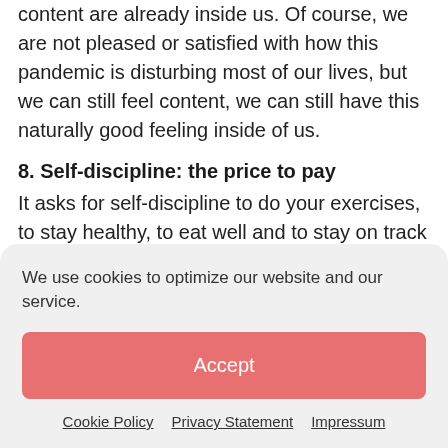content are already inside us. Of course, we are not pleased or satisfied with how this pandemic is disturbing most of our lives, but we can still feel content, we can still have this naturally good feeling inside of us.
8. Self-discipline: the price to pay
It asks for self-discipline to do your exercises, to stay healthy, to eat well and to stay on track with your good intentions and goals. To keep your motivation up, you need
We use cookies to optimize our website and our service.
Accept
Cookie Policy   Privacy Statement   Impressum